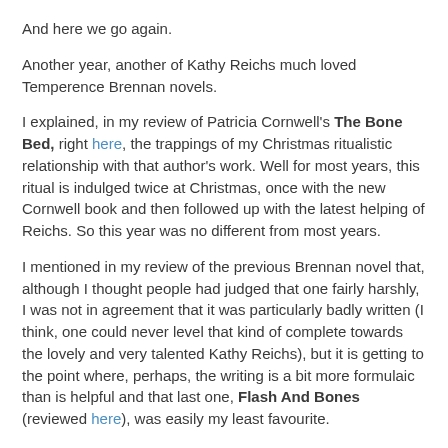And here we go again.
Another year, another of Kathy Reichs much loved Temperence Brennan novels.
I explained, in my review of Patricia Cornwell's The Bone Bed, right here, the trappings of my Christmas ritualistic relationship with that author's work. Well for most years, this ritual is indulged twice at Christmas, once with the new Cornwell book and then followed up with the latest helping of Reichs. So this year was no different from most years.
I mentioned in my review of the previous Brennan novel that, although I thought people had judged that one fairly harshly, I was not in agreement that it was particularly badly written (I think, one could never level that kind of complete towards the lovely and very talented Kathy Reichs), but it is getting to the point where, perhaps, the writing is a bit more formulaic than is helpful and that last one, Flash And Bones (reviewed here), was easily my least favourite.
Due, perhaps, to its changing locations and sense of a